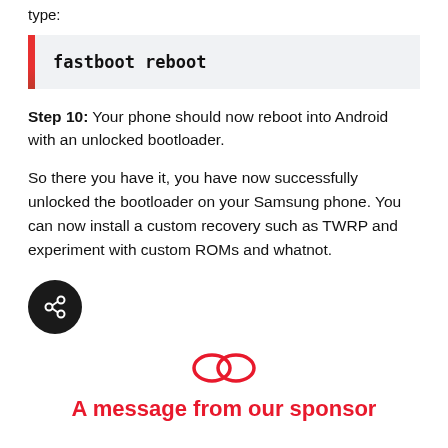type:
fastboot reboot
Step 10: Your phone should now reboot into Android with an unlocked bootloader.
So there you have it, you have now successfully unlocked the bootloader on your Samsung phone. You can now install a custom recovery such as TWRP and experiment with custom ROMs and whatnot.
[Figure (illustration): Dark circular share/export button icon]
[Figure (logo): Linked circles icon representing sponsor logo]
A message from our sponsor